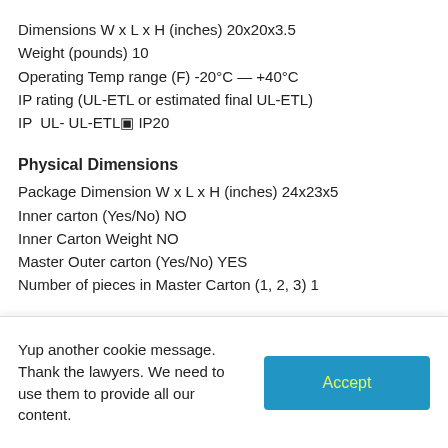Dimensions W x L x H (inches) 20x20x3.5
Weight (pounds) 10
Operating Temp range (F) -20°C — +40°C
IP rating (UL-ETL or estimated final UL-ETL)
IP  UL- UL-ETL▣ IP20
Physical Dimensions
Package Dimension W x L x H (inches) 24x23x5
Inner carton (Yes/No) NO
Inner Carton Weight NO
Master Outer carton (Yes/No) YES
Number of pieces in Master Carton (1, 2, 3) 1
Yup another cookie message. Thank the lawyers. We need to use them to provide all our content.